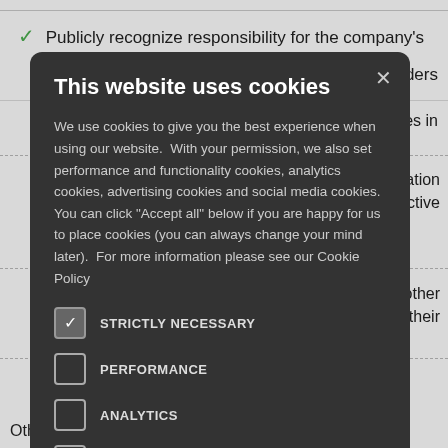✓ Publicly recognize responsibility for the company's [stakeholders]
[nd policies in]
[implementation] [em to take active]
[oyees and other] [dress their]
Other established or emerging best practices
[Figure (screenshot): Cookie consent modal dialog on a dark background. Title: 'This website uses cookies'. Body text explains cookie usage. Contains checkboxes for: STRICTLY NECESSARY (checked), PERFORMANCE (unchecked), ANALYTICS (unchecked), FUNCTIONALITY (unchecked), SOCIAL MEDIA (unchecked). Has an X close button in top right corner.]